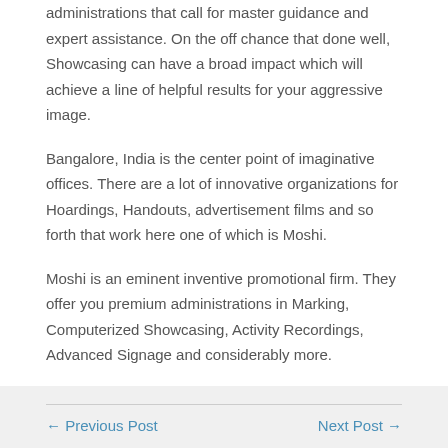administrations that call for master guidance and expert assistance. On the off chance that done well, Showcasing can have a broad impact which will achieve a line of helpful results for your aggressive image.
Bangalore, India is the center point of imaginative offices. There are a lot of innovative organizations for Hoardings, Handouts, advertisement films and so forth that work here one of which is Moshi.
Moshi is an eminent inventive promotional firm. They offer you premium administrations in Marking, Computerized Showcasing, Activity Recordings, Advanced Signage and considerably more.
← Previous Post    Next Post →
sbobet88